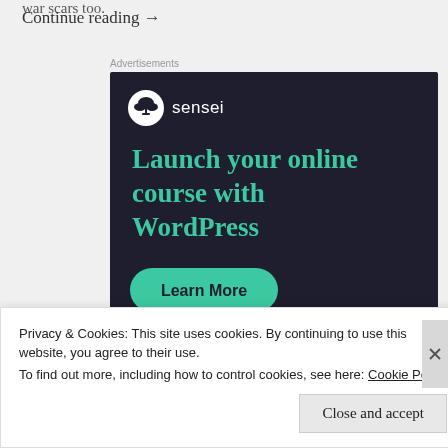war scars too.
Continue reading →
Advertisements
[Figure (illustration): Sensei advertisement banner with dark navy background. Shows Sensei logo (bonsai tree icon in white circle) with text 'sensei'. Large teal heading reads 'Launch your online course with WordPress'. A teal rounded button at bottom says 'Learn More'.]
Privacy & Cookies: This site uses cookies. By continuing to use this website, you agree to their use.
To find out more, including how to control cookies, see here: Cookie Policy
Close and accept